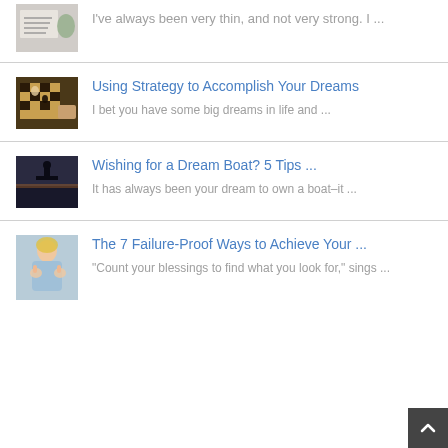[Figure (photo): Partial view of a notepad with handwritten planning text, with a green cup in background]
I've always been very thin, and not very strong. I ...
[Figure (photo): Chess board with pieces being moved by hands]
Using Strategy to Accomplish Your Dreams
I bet you have some big dreams in life and ...
[Figure (photo): Silhouette of person on boat dock at dusk]
Wishing for a Dream Boat? 5 Tips ...
It has always been your dream to own a boat–it ...
[Figure (photo): Blonde woman in light blue top giving thumbs up]
The 7 Failure-Proof Ways to Achieve Your ...
"Count your blessings to find what you look for," sings ...